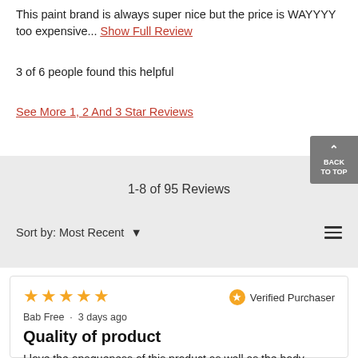This paint brand is always super nice but the price is WAYYYY too expensive... Show Full Review
3 of 6 people found this helpful
See More 1, 2 And 3 Star Reviews
1-8 of 95 Reviews
Sort by: Most Recent ▾
★★★★★ Verified Purchaser
Bab Free · 3 days ago
Quality of product
I love the opaqueness of this product as well as the body.